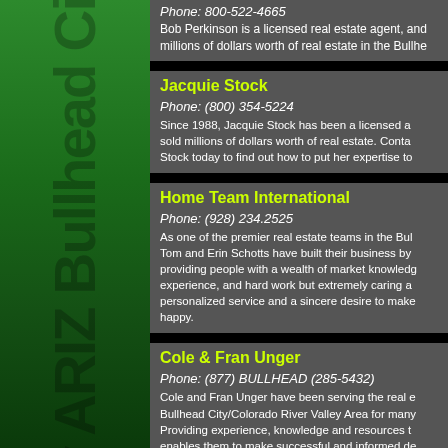Phone: 800-522-4665
Bob Perkinson is a licensed real estate agent, and has sold millions of dollars worth of real estate in the Bullhe...
Jacquie Stock
Phone: (800) 354-5224
Since 1988, Jacquie Stock has been a licensed agent and sold millions of dollars worth of real estate. Contact Stock today to find out how to put her expertise to...
Home Team International
Phone: (928) 234.2525
As one of the premier real estate teams in the Bullhead City area, Tom and Erin Schotts have built their business by providing people with a wealth of market knowledge, experience, and hard work but extremely caring and personalized service and a sincere desire to make their clients happy.
Cole & Fran Unger
Phone: (877) BULLHEAD (285-5432)
Cole and Fran Unger have been serving the real estate Bullhead City/Colorado River Valley Area for many years. Providing experience, knowledge and resources that enables them to make successful and informed decisions. Learn about how they can help deliver the results...